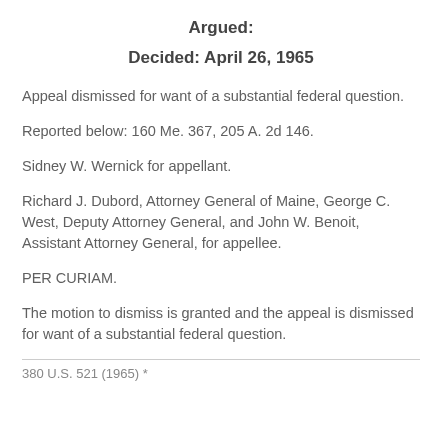Argued:
Decided: April 26, 1965
Appeal dismissed for want of a substantial federal question.
Reported below: 160 Me. 367, 205 A. 2d 146.
Sidney W. Wernick for appellant.
Richard J. Dubord, Attorney General of Maine, George C. West, Deputy Attorney General, and John W. Benoit, Assistant Attorney General, for appellee.
PER CURIAM.
The motion to dismiss is granted and the appeal is dismissed for want of a substantial federal question.
380 U.S. 521 (1965) *